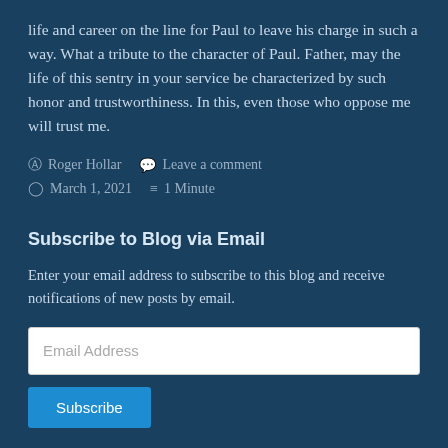life and career on the line for Paul to leave his charge in such a way. What a tribute to the character of Paul. Father, may the life of this sentry in your service be characterized by such honor and trustworthiness. In this, even those who oppose me will trust me.
Roger Hollar   Leave a comment   March 1, 2021   1 Minute
Subscribe to Blog via Email
Enter your email address to subscribe to this blog and receive notifications of new posts by email.